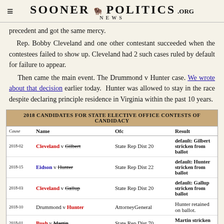SOONER POLITICS NEWS .ORG
precedent and got the same mercy.
   Rep. Bobby Cleveland and one other contestant succeeded when the contestees failed to show up. Cleveland had 2 such cases ruled by default for failure to appear.
   Then came the main event. The Drummond v Hunter case. We wrote about that decision earlier today. Hunter was allowed to stay in the race despite declaring principle residence in Virginia within the past 10 years.
| Cause | Name | Ofc | Result |
| --- | --- | --- | --- |
| 2018-02 | Cleveland v Gilbert | State Rep Dist 20 | default: Gilbert stricken from ballot |
| 2018-15 | Eidson v Hunter | State Rep Dist 22 | default: Hunter stricken from ballot |
| 2018-03 | Cleveland v Gallup | State Rep Dist 20 | default: Gallup stricken from ballot |
| 2018-10 | Drummond v Hunter | AttorneyGeneral | Hunter retained on ballot. |
| 2018-01 | Bush v Martin | State Rep Dist 70 | Martin stricken from ballot. |